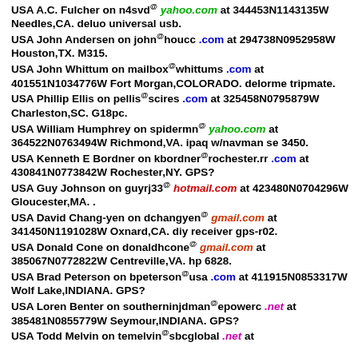USA A.C. Fulcher on n4svd@yahoo.com at 344453N1143135W Needles,CA. deluo universal usb.
USA John Andersen on john@houcc.com at 294738N0952958W Houston,TX. M315.
USA John Whittum on mailbox@whittums.com at 401551N1034776W Fort Morgan,COLORADO. delorme tripmate.
USA Phillip Ellis on pellis@scires.com at 325458N0795879W Charleston,SC. G18pc.
USA William Humphrey on spidermn@yahoo.com at 364522N0763494W Richmond,VA. ipaq w/navman se 3450.
USA Kenneth E Bordner on kbordner@rochester.rr.com at 430841N0773842W Rochester,NY. GPS?
USA Guy Johnson on guyrj33@hotmail.com at 423480N0704296W Gloucester,MA. .
USA David Chang-yen on dchangyen@gmail.com at 341450N1191028W Oxnard,CA. diy receiver gps-r02.
USA Donald Cone on donaldhcone@gmail.com at 385067N0772822W Centreville,VA. hp 6828.
USA Brad Peterson on bpeterson@usa.com at 411915N0853317W Wolf Lake,INDIANA. GPS?
USA Loren Benter on southerninjdman@epowerc.net at 385481N0855779W Seymour,INDIANA. GPS?
USA Todd Melvin on temelvin@sbcglobal.net at